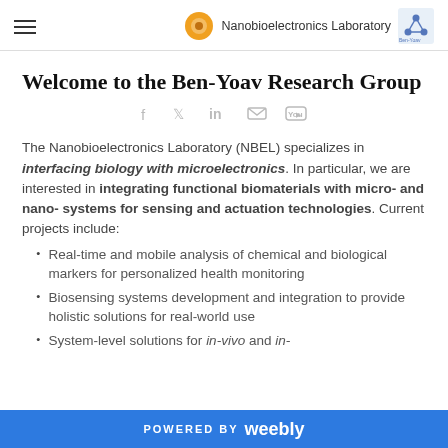Nanobioelectronics Laboratory
Welcome to the Ben-Yoav Research Group
[Figure (infographic): Social media icons: Facebook, Twitter, LinkedIn, Email, YouTube in light gray]
The Nanobioelectronics Laboratory (NBEL) specializes in interfacing biology with microelectronics. In particular, we are interested in integrating functional biomaterials with micro- and nano- systems for sensing and actuation technologies. Current projects include:
Real-time and mobile analysis of chemical and biological markers for personalized health monitoring
Biosensing systems development and integration to provide holistic solutions for real-world use
System-level solutions for in-vivo and in-
POWERED BY weebly